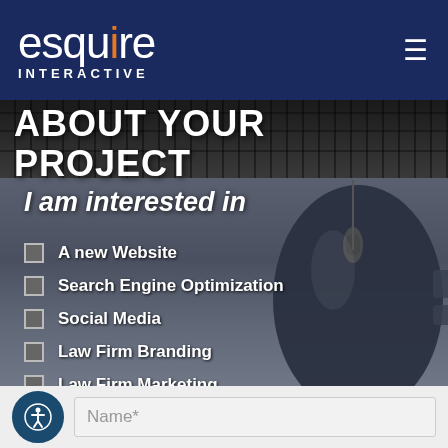[Figure (logo): Esquire Interactive logo — 'esquire' in white lowercase with orange dot over 'i', 'INTERACTIVE' in white small caps, on dark navy background]
≡
[Figure (photo): Dark background with computer keyboard texture at top and a dark blue computer mouse in the foreground on a grey surface]
ABOUT YOUR PROJECT
I am interested in
A new Website
Search Engine Optimization
Social Media
Law Firm Branding
Law Firm Marketing
Pay-Per-Click Marketing
Video Development
Name*